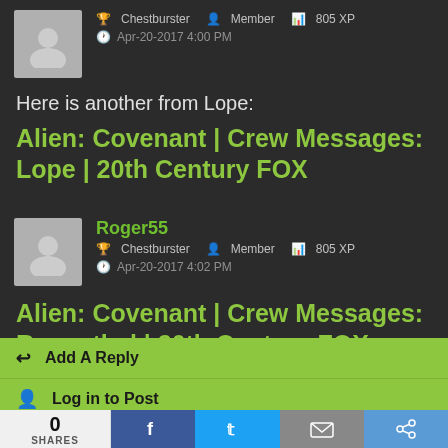[Figure (photo): Default user avatar silhouette, grey placeholder]
Chestburster   Member   805 XP
Apr-20-2017 4:00 PM
Here is another from Lope:
Alien: Covenant | Crew Messages: Lope | 20th Century FOX
[Figure (photo): Default user avatar silhouette, grey placeholder]
Roger55
Chestburster   Member   805 XP
Apr-20-2017 4:02 PM
Alien: Covenant | Crew Messages: Rosenthal | 20th Century FOX
Add A Reply
Log in to Post
Enter Your Email
0
SHARES